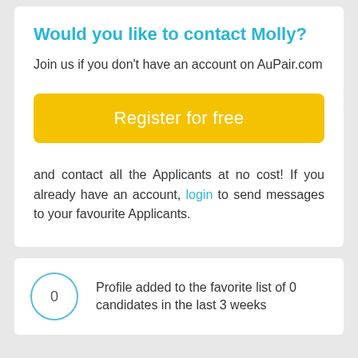Would you like to contact Molly?
Join us if you don't have an account on AuPair.com
[Figure (other): Yellow rounded button labeled 'Register for free']
and contact all the Applicants at no cost! If you already have an account, login to send messages to your favourite Applicants.
Profile added to the favorite list of 0 candidates in the last 3 weeks